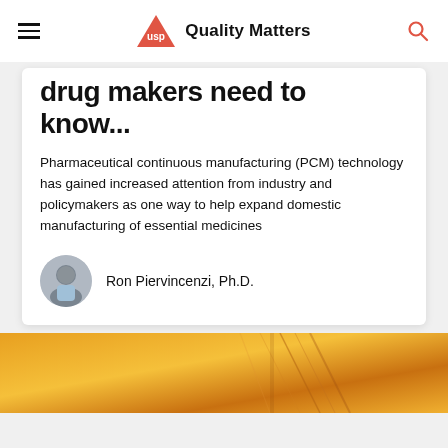USP Quality Matters
drug makers need to know...
Pharmaceutical continuous manufacturing (PCM) technology has gained increased attention from industry and policymakers as one way to help expand domestic manufacturing of essential medicines
Ron Piervincenzi, Ph.D.
[Figure (photo): Close-up photo with warm orange/yellow tones, showing what appears to be pharmaceutical or industrial equipment with diagonal lines/shadows]